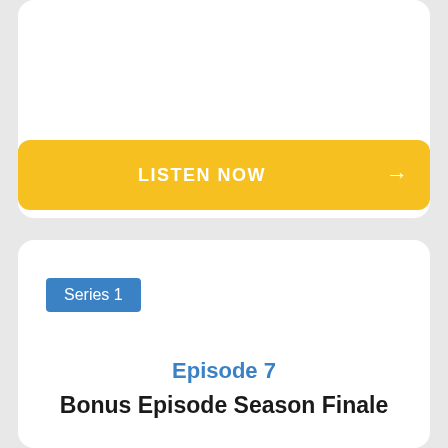[Figure (other): Yellow 'LISTEN NOW' button with right arrow on white card background]
Series 1
Episode 7
Bonus Episode Season Finale
We've come to the end of our first season, so…